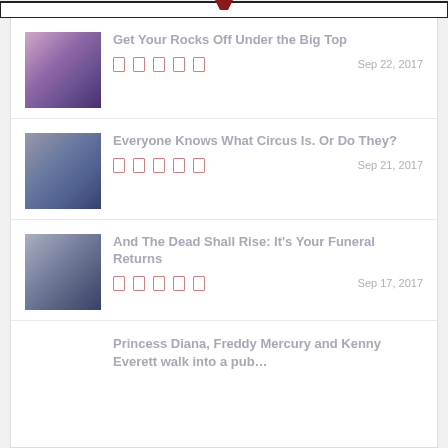[Figure (other): Top decorative bar with dark red/maroon accent triangle at center top]
Get Your Rocks Off Under the Big Top — Sep 22, 2017
Everyone Knows What Circus Is. Or Do They? — Sep 21, 2017
And The Dead Shall Rise: It's Your Funeral Returns — Sep 17, 2017
Princess Diana, Freddy Mercury and Kenny Everett walk into a pub…